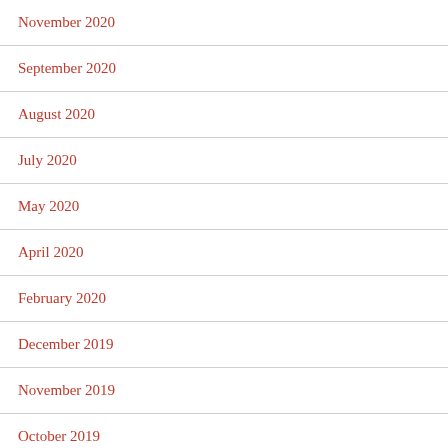November 2020
September 2020
August 2020
July 2020
May 2020
April 2020
February 2020
December 2019
November 2019
October 2019